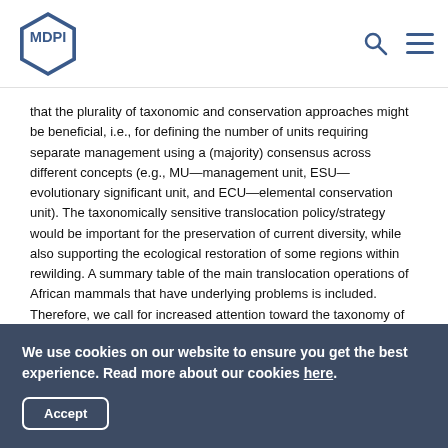MDPI
that the plurality of taxonomic and conservation approaches might be beneficial, i.e., for defining the number of units requiring separate management using a (majority) consensus across different concepts (e.g., MU—management unit, ESU—evolutionary significant unit, and ECU—elemental conservation unit). The taxonomically sensitive translocation policy/strategy would be important for the preservation of current diversity, while also supporting the ecological restoration of some regions within rewilding. A summary table of the main translocation operations of African mammals that have underlying problems is included. Therefore, we call for increased attention toward the taxonomy of African mammals not only as the basis for sound conservation but also as a further opportunity to enlarge the geographic scope of ecotourism in Africa. View Full-Text
We use cookies on our website to ensure you get the best experience. Read more about our cookies here.
Accept